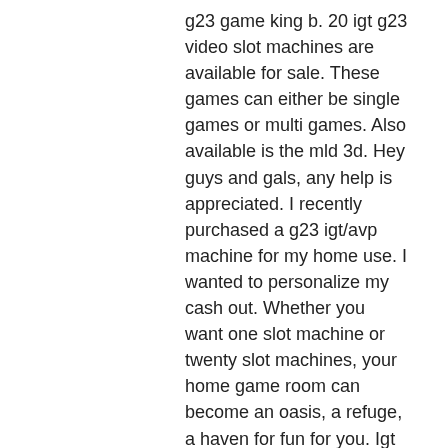g23 game king b. 20 igt g23 video slot machines are available for sale. These games can either be single games or multi games. Also available is the mld 3d. Hey guys and gals, any help is appreciated. I recently purchased a g23 igt/avp machine for my home use. I wanted to personalize my cash out. Whether you want one slot machine or twenty slot machines, your home game room can become an oasis, a refuge, a haven for fun for you. Igt g23 slot machine wolf run (free play, handpay. Photo is stock image. Ohioriverslotsselling slot machines since ohioriverslotssellin. The igt g20 machines are beautiful dual 20″ video slots with a huge theme library to choose from. Ask for a price. Quite honestly one of the best slot machines we have ever came across and it's available now for sale! this igt g23 savp mutigame video slot machine. We specialize in igt, bally, wms, aristocrat, and